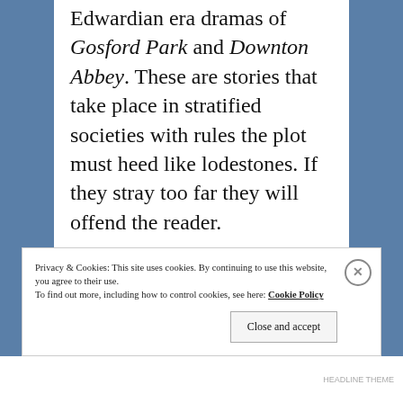Edwardian era dramas of Gosford Park and Downton Abbey. These are stories that take place in stratified societies with rules the plot must heed like lodestones. If they stray too far they will offend the reader.

It sounds like a recipe for boredom and might well be–but for the persons that threaten to upset one's
Privacy & Cookies: This site uses cookies. By continuing to use this website, you agree to their use. To find out more, including how to control cookies, see here: Cookie Policy
Close and accept